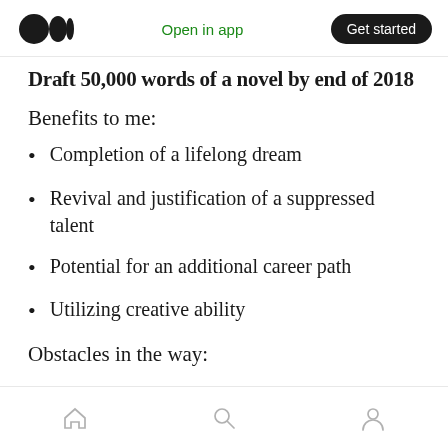Open in app | Get started
Draft 50,000 words of a novel by end of 2018
Benefits to me:
Completion of a lifelong dream
Revival and justification of a suppressed talent
Potential for an additional career path
Utilizing creative ability
Obstacles in the way:
Home | Search | Profile